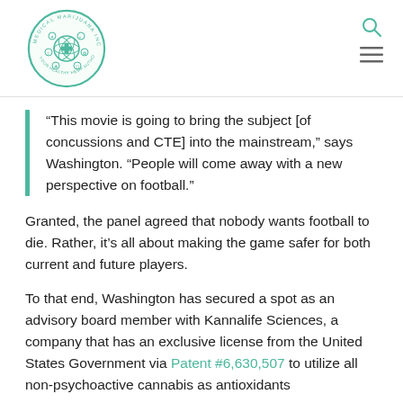[Figure (logo): Medical Marijuana Inc. circular logo with green border and medical/cannabis symbols]
“This movie is going to bring the subject [of concussions and CTE] into the mainstream,” says Washington. “People will come away with a new perspective on football.”
Granted, the panel agreed that nobody wants football to die. Rather, it’s all about making the game safer for both current and future players.
To that end, Washington has secured a spot as an advisory board member with Kannalife Sciences, a company that has an exclusive license from the United States Government via Patent #6,630,507 to utilize all non-psychoactive cannabis as antioxidants